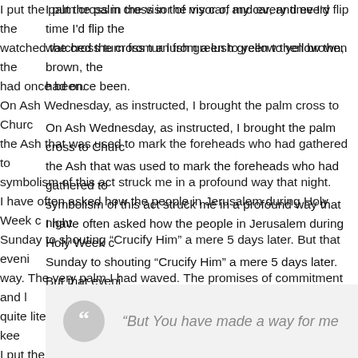I put the palm cross in the visor of my car, and every time I'd flip the visor I watched the cross turn from a lush green to yellow then brown, the life it had once been.
On Ash Wednesday, as instructed, I brought the palm cross to Church to become the Ash that was used to mark the foreheads who had gathered to worship. The symbolism of this act struck me in a profound way that night.
I have often asked how the people in Jerusalem during Holy Week could go from Palm Sunday to shouting "Crucify Him" a mere 5 days later. But that evening I understood in a deeper way. The very palm I had waved. The promises of commitment and loyalty I had made had quite literally become the ashes of my repentance for failing to keep them.
Yet in spite of our fickleness, feebleness, and half-heartedness, God sent His Son to bear the punishment for our sins and to set us free from their grip. The truth is we were not worthy for the Son of God to save us. Yet we are so deeply cherished, He laid down His life for us.
“But You have made a way for me